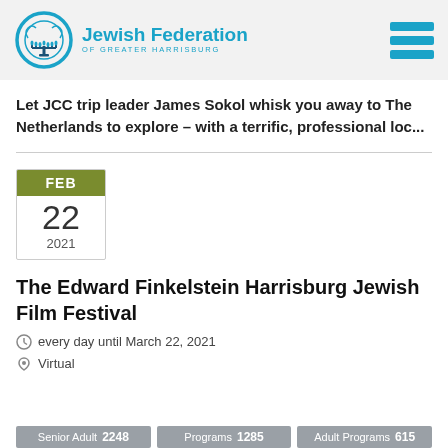[Figure (logo): Jewish Federation of Greater Harrisburg logo with circular menorah icon and text]
Let JCC trip leader James Sokol whisk you away to The Netherlands to explore – with a terrific, professional loc...
[Figure (other): Calendar widget showing FEB 22 2021]
The Edward Finkelstein Harrisburg Jewish Film Festival
every day until March 22, 2021
Virtual
Senior Adult 2248  Programs 1285  Adult Programs 615